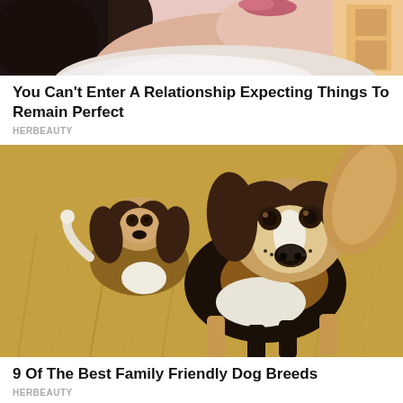[Figure (photo): Cropped photo of a young woman with long dark hair, visible neck and lower face with lips, wearing white lace, with warm indoor lighting in background]
You Can't Enter A Relationship Expecting Things To Remain Perfect
HERBEAUTY
[Figure (photo): Two beagle puppies running through a golden wheat field, one facing camera with ears flying up, the other behind it]
9 Of The Best Family Friendly Dog Breeds
HERBEAUTY